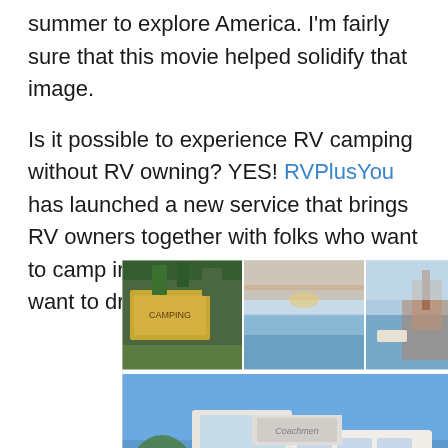summer to explore America. I'm fairly sure that this movie helped solidify that image.
Is it possible to experience RV camping without RV owning? YES! RVPlusYou has launched a new service that brings RV owners together with folks who want to camp in an RV, but don't necessarily want to drive or tow.
[Figure (photo): A collage of RV camping photos: top row shows three landscape/marina images, bottom large image shows a white class C RV motorhome parked at a campsite near water.]
RV rental by owner delivered to Bodega Bay